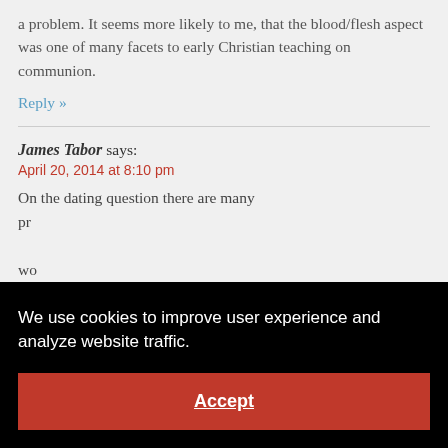a problem. It seems more likely to me, that the blood/flesh aspect was one of many facets to early Christian teaching on communion.
Reply »
James Tabor says:
April 20, 2014 at 8:10 pm
On the dating question there are many pr... wo... m... 30... ca... Th... postponements that are made but in 2nd
We use cookies to improve user experience and analyze website traffic.
Accept